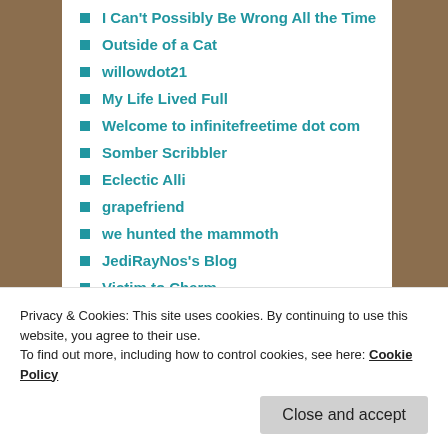I Can't Possibly Be Wrong All the Time
Outside of a Cat
willowdot21
My Life Lived Full
Welcome to infinitefreetime dot com
Somber Scribbler
Eclectic Alli
grapefriend
we hunted the mammoth
JediRayNos's Blog
Victim to Charm
Y.I. Washington
Planetary Defense Command
new teacher life
Privacy & Cookies: This site uses cookies. By continuing to use this website, you agree to their use.
To find out more, including how to control cookies, see here: Cookie Policy
Close and accept